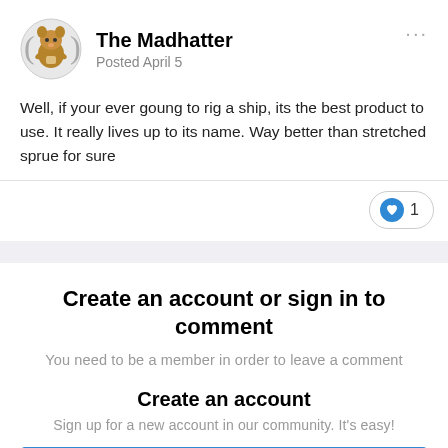[Figure (illustration): Circular avatar image of a cartoon squirrel/chipmunk character holding something, with curved bracket shapes on left and right sides]
The Madhatter
Posted April 5
Well, if your ever goung to rig a ship, its the best product to use. It really lives up to its name.  Way better than stretched sprue for sure
1
Create an account or sign in to comment
You need to be a member in order to leave a comment
Create an account
Sign up for a new account in our community. It's easy!
Register a new account